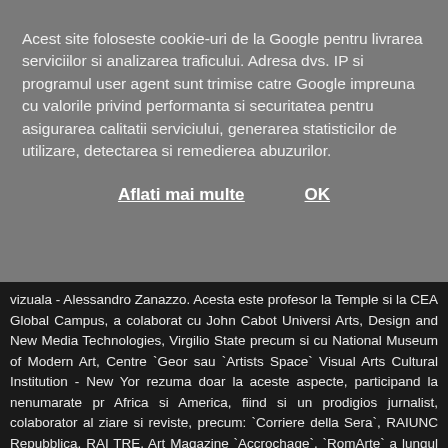Acest site foloseste cookie-uri de la Google pentru livrarea serviciilor si analizarea traficului. Adresa dvs. IP si programul user agent sunt trimise catre Google impreuna cu valorile privind performanta si securitatea pentru asigurarea calitatii serviciului, generarea statisticilor de utilizare, detectarea si remedierea abuzurilor.
Aflati mai multe   OK
vizuala - Alessandro Zanazzo. Acesta este profesor la Temple si la CEA Global Campus, a colaborat cu John Cabot Universi Arts, Design and New Media Technologies, Virgilio State precum si cu National Museum of Modern Art, Centre `Geor sau `Artists Space` Visual Arts Cultural Institution - New Yor rezuma doar la aceste aspecte, participand la nenumarate pr Africa si America, fiind si un prodigios jurnalist, colaborator al ziare si reviste, precum: `Corriere della Sera`, RAIUNC Repubblica, RAI TRE, Art Magazine `Accrochage`, `RomArte` a lungul anilor la diferite proiecte culturale in multe tari ale E vedea si in CV-ul sau pe www.infofashion.ro . Incepand cu anul 2006, Romania a inceput colaborarea ORGANIZATION (WBO) din Germania, promotoare